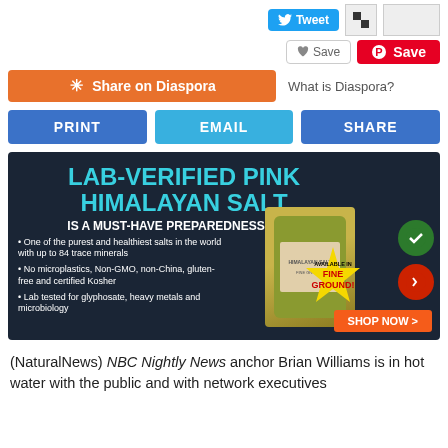[Figure (screenshot): Social sharing buttons: Tweet (Twitter), Pinterest icon, blank box, Save (heart), Save (Pinterest red button)]
[Figure (screenshot): Share on Diaspora button (orange) with 'What is Diaspora?' text]
[Figure (screenshot): PRINT, EMAIL, SHARE action buttons in blue]
[Figure (advertisement): Lab-Verified Pink Himalayan Salt advertisement. Dark background with blue headline, bullet points, product bag image, star burst 'Available in Fine Ground!', shop now button, lab verified badges.]
(NaturalNews) NBC Nightly News anchor Brian Williams is in hot water with the public and with network executives